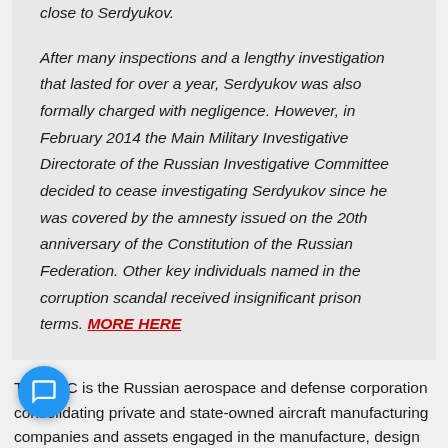close to Serdyukov.
After many inspections and a lengthy investigation that lasted for over a year, Serdyukov was also formally charged with negligence. However, in February 2014 the Main Military Investigative Directorate of the Russian Investigative Committee decided to cease investigating Serdyukov since he was covered by the amnesty issued on the 20th anniversary of the Constitution of the Russian Federation. Other key individuals named in the corruption scandal received insignificant prison terms. MORE HERE
The UAC is the Russian aerospace and defense corporation consolidating private and state-owned aircraft manufacturing companies and assets engaged in the manufacture, design and sale